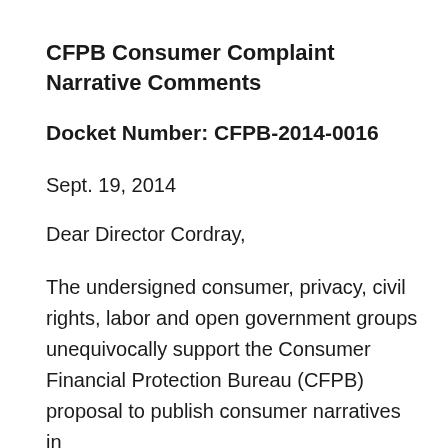CFPB Consumer Complaint Narrative Comments
Docket Number: CFPB-2014-0016
Sept. 19, 2014
Dear Director Cordray,
The undersigned consumer, privacy, civil rights, labor and open government groups unequivocally support the Consumer Financial Protection Bureau (CFPB) proposal to publish consumer narratives in